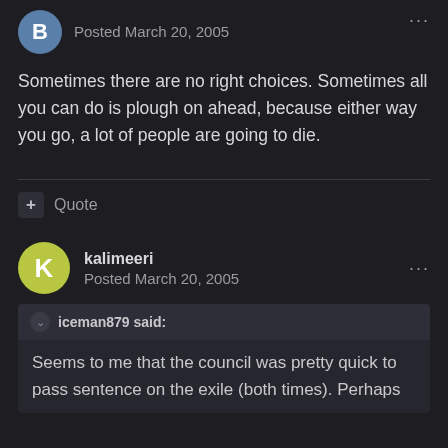Posted March 20, 2005
Sometimes there are no right choices. Sometimes all you can do is plough on ahead, because either way you go, a lot of people are going to die.
+ Quote
kalimeeri
Posted March 20, 2005
iceman879 said:
Seems to me that the council was pretty quick to pass sentence on the exile (both times).  Perhaps